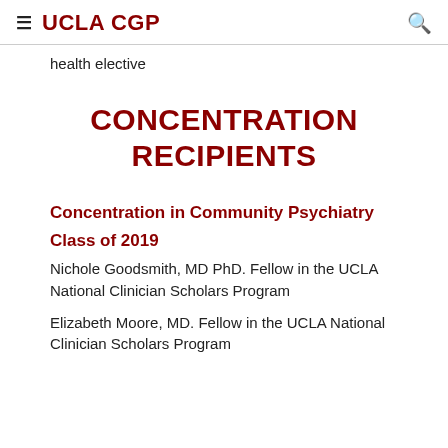≡ UCLA CGP 🔍
health elective
CONCENTRATION RECIPIENTS
Concentration in Community Psychiatry
Class of 2019
Nichole Goodsmith, MD PhD. Fellow in the UCLA National Clinician Scholars Program
Elizabeth Moore, MD. Fellow in the UCLA National Clinician Scholars Program